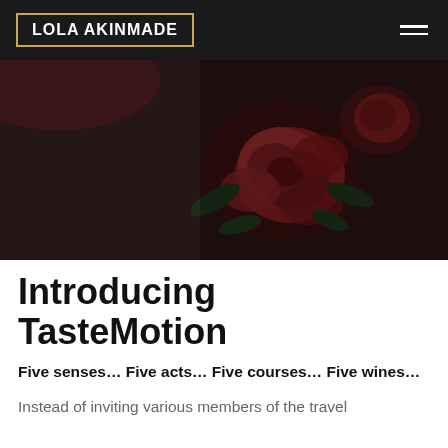LOLA AKINMADE
[Figure (photo): Dark moody photograph of a decorative floral pattern (large red/pink roses with green leaves) on what appears to be fabric or ceramic, dimly lit with reddish ambient light in the upper corner]
Introducing TasteMotion
Five senses... Five acts... Five courses... Five wines...
Instead of inviting various members of the travel